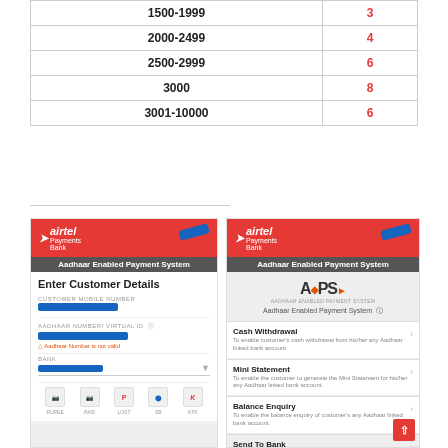|  |  |
| --- | --- |
| 1500-1999 | 3 |
| 2000-2499 | 4 |
| 2500-2999 | 6 |
| 3000 | 8 |
| 3001-10000 | 6 |
[Figure (screenshot): Two screenshots of Airtel Payments Bank app showing Aadhaar Enabled Payment System (AePS). Left screenshot shows Enter Customer Details form with fields for Customer Mobile Number, Aadhaar Number/Virtual ID, and Bank selection with icons for RUPAY, PAID, LOST, SB, KTK. Right screenshot shows AePS menu with options: Cash Withdrawal, Mini Statement, Balance Enquiry, Send To Bank.]